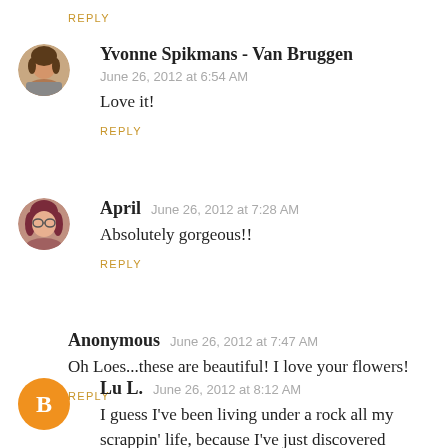REPLY
Yvonne Spikmans - Van Bruggen
June 26, 2012 at 6:54 AM
Love it!
REPLY
April  June 26, 2012 at 7:28 AM
Absolutely gorgeous!!
REPLY
Anonymous  June 26, 2012 at 7:47 AM
Oh Loes...these are beautiful! I love your flowers!
REPLY
Lu L.  June 26, 2012 at 8:12 AM
I guess I've been living under a rock all my scrappin' life, because I've just discovered